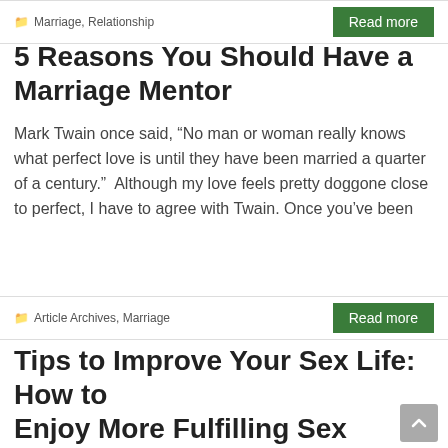Marriage, Relationship
Read more
5 Reasons You Should Have a Marriage Mentor
Mark Twain once said, “No man or woman really knows what perfect love is until they have been married a quarter of a century.”  Although my love feels pretty doggone close to perfect, I have to agree with Twain. Once you’ve been
Article Archives, Marriage
Read more
Tips to Improve Your Sex Life: How to Enjoy More Fulfilling Sex